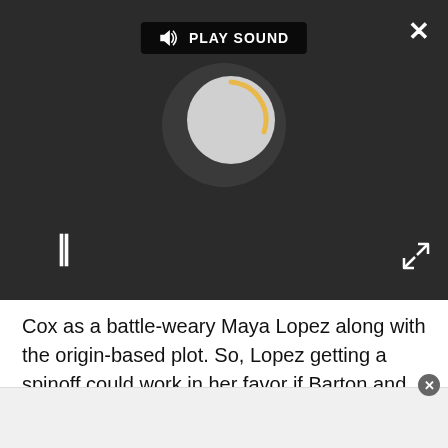[Figure (screenshot): Dark-themed audio/media player with 'PLAY SOUND' button, a circular loading spinner with gold arc, a pause button (two vertical bars), a close X button top-right, and an expand icon bottom-right.]
Cox as a battle-weary Maya Lopez along with the origin-based plot. So, Lopez getting a spinoff could work in her favor if Barton and Bishop do get a second go-around.
Having two series with multiple seasons could hint that Disney+ (or Disney) is looking to build Marvel's TV slate even more than it already is, which is saying something. Along with Echo, Ms. Marvel and She-Hulk: Attorney at Law are already on the way, to name just two. Of course, there is the Agatha Harkness spinoff...